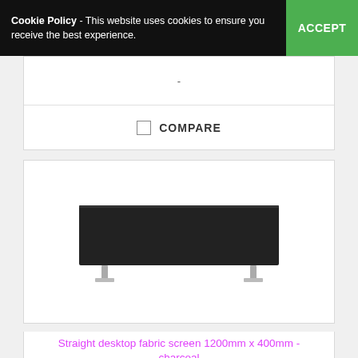Cookie Policy - This website uses cookies to ensure you receive the best experience. ACCEPT
-
COMPARE
[Figure (photo): A dark charcoal straight desktop fabric screen with silver legs, approximately 1200mm x 400mm, shown on a white background.]
Straight desktop fabric screen 1200mm x 400mm - charcoal